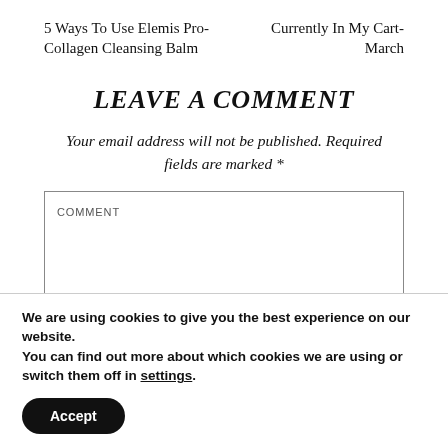5 Ways To Use Elemis Pro-Collagen Cleansing Balm    Currently In My Cart- March
LEAVE A COMMENT
Your email address will not be published. Required fields are marked *
COMMENT
We are using cookies to give you the best experience on our website.
You can find out more about which cookies we are using or switch them off in settings.
Accept